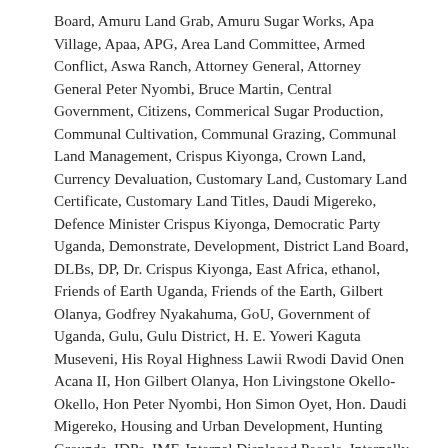Board, Amuru Land Grab, Amuru Sugar Works, Apa Village, Apaa, APG, Area Land Committee, Armed Conflict, Aswa Ranch, Attorney General, Attorney General Peter Nyombi, Bruce Martin, Central Government, Citizens, Commerical Sugar Production, Communal Cultivation, Communal Grazing, Communal Land Management, Crispus Kiyonga, Crown Land, Currency Devaluation, Customary Land, Customary Land Certificate, Customary Land Titles, Daudi Migereko, Defence Minister Crispus Kiyonga, Democratic Party Uganda, Demonstrate, Development, District Land Board, DLBs, DP, Dr. Crispus Kiyonga, East Africa, ethanol, Friends of Earth Uganda, Friends of the Earth, Gilbert Olanya, Godfrey Nyakahuma, GoU, Government of Uganda, Gulu, Gulu District, H. E. Yoweri Kaguta Museveni, His Royal Highness Lawii Rwodi David Onen Acana II, Hon Gilbert Olanya, Hon Livingstone Okello-Okello, Hon Peter Nyombi, Hon Simon Oyet, Hon. Daudi Migereko, Housing and Urban Development, Hunting Grounds, IDPs, IMF, Internal Displaced People, Internally Displaced Persons' Camps